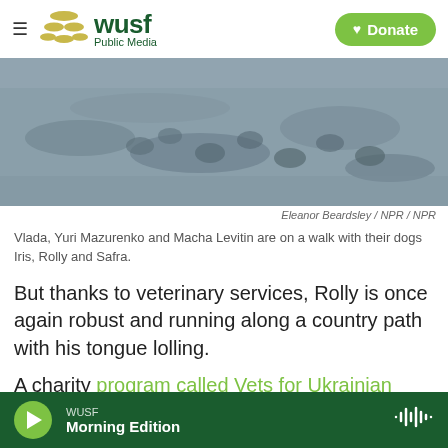WUSF Public Media — Donate
[Figure (photo): Sandy/muddy ground showing animal or footprints tracks across the surface]
Eleanor Beardsley / NPR / NPR
Vlada, Yuri Mazurenko and Macha Levitin are on a walk with their dogs Iris, Rolly and Safra.
But thanks to veterinary services, Rolly is once again robust and running along a country path with his tongue lolling.
A charity program called Vets for Ukrainian Pets, launched by Humane Society International, paid for
WUSF Morning Edition